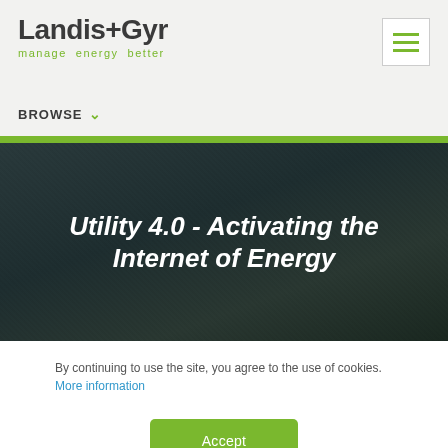[Figure (logo): Landis+Gyr logo with tagline 'manage energy better' in green]
[Figure (other): Hamburger menu icon (three green horizontal lines) in white bordered box]
BROWSE
[Figure (screenshot): Dark hero banner with diagonal texture overlay]
Utility 4.0 - Activating the Internet of Energy
By continuing to use the site, you agree to the use of cookies. More information
Accept